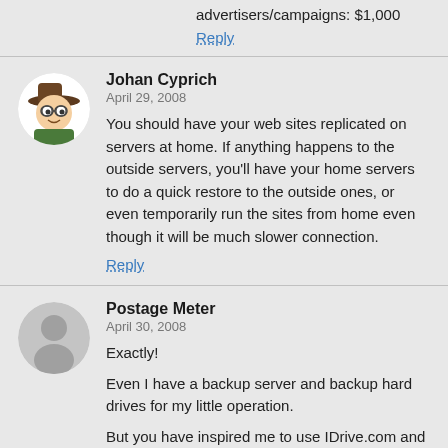advertisers/campaigns: $1,000
Reply
Johan Cyprich
April 29, 2008
You should have your web sites replicated on servers at home. If anything happens to the outside servers, you'll have your home servers to do a quick restore to the outside ones, or even temporarily run the sites from home even though it will be much slower connection.
Reply
Postage Meter
April 30, 2008
Exactly!

Even I have a backup server and backup hard drives for my little operation.

But you have inspired me to use IDrive.com and backup all my data there. 12GB of free hard drive space is nice.